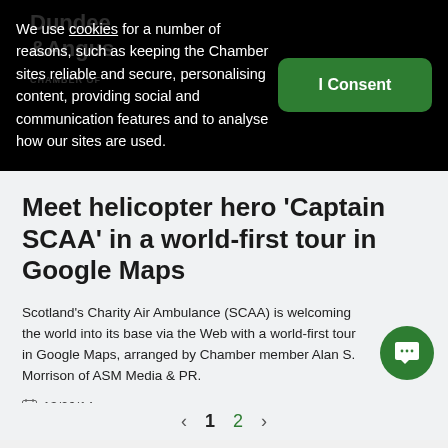We use cookies for a number of reasons, such as keeping the Chamber sites reliable and secure, personalising content, providing social and communication features and to analyse how our sites are used.
I Consent
Meet helicopter hero 'Captain SCAA' in a world-first tour in Google Maps
Scotland's Charity Air Ambulance (SCAA) is welcoming the world into its base via the Web with a world-first tour in Google Maps, arranged by Chamber member Alan S. Morrison of ASM Media & PR.
13/06/14
‹ 1 2 ›